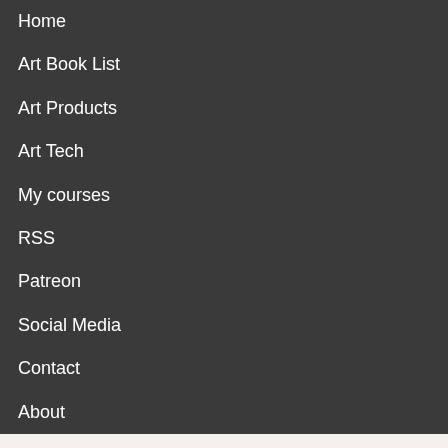Home
Art Book List
Art Products
Art Tech
My courses
RSS
Patreon
Social Media
Contact
About
Parka Blogs
Art books, art products, includes tech
Upcoming reviews: UGEE U1200, Parblo Coast 22 Pro
Book Review: Telling Stories: The Classic